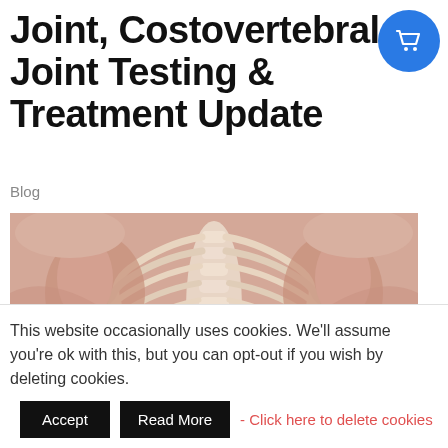Joint, Costovertebral Joint Testing & Treatment Update
Blog
[Figure (illustration): Anatomical illustration showing the posterior view of the human thorax with muscles, ribs, and costovertebral joints visible in a 3D rendered style.]
This website occasionally uses cookies. We'll assume you're ok with this, but you can opt-out if you wish by deleting cookies.
Accept | Read More - Click here to delete cookies